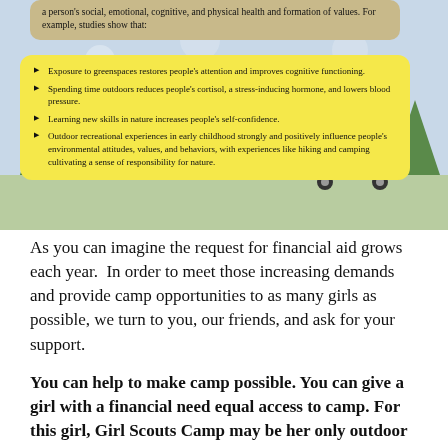[Figure (illustration): Illustrated outdoor/camp scene with trees, a camper van, tents, and nature elements in light blue background. Contains a tan/beige rounded box at top with partial text about social, emotional, cognitive, and physical health and formation of values, and a yellow rounded box with four bullet points about nature and outdoor experiences.]
Exposure to greenspaces restores people's attention and improves cognitive functioning.
Spending time outdoors reduces people's cortisol, a stress-inducing hormone, and lowers blood pressure.
Learning new skills in nature increases people's self-confidence.
Outdoor recreational experiences in early childhood strongly and positively influence people's environmental attitudes, values, and behaviors, with experiences like hiking and camping cultivating a sense of responsibility for nature.
As you can imagine the request for financial aid grows each year.  In order to meet those increasing demands and provide camp opportunities to as many girls as possible, we turn to you, our friends, and ask for your support.
You can help to make camp possible. You can give a girl with a financial need equal access to camp. For this girl, Girl Scouts Camp may be her only outdoor